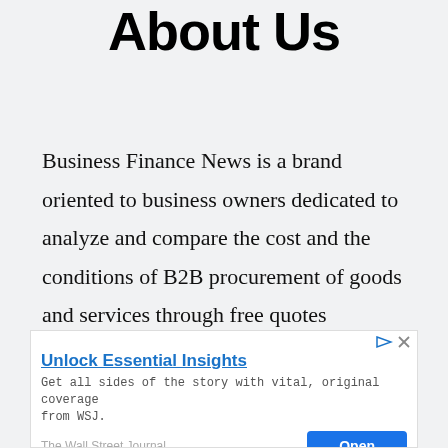About Us
Business Finance News is a brand oriented to business owners dedicated to analyze and compare the cost and the conditions of B2B procurement of goods and services through free quotes delivered by business partners.
[Figure (screenshot): Advertisement banner for The Wall Street Journal: 'Unlock Essential Insights' with subtext 'Get all sides of the story with vital, original coverage from WSJ.' and an Open button.]